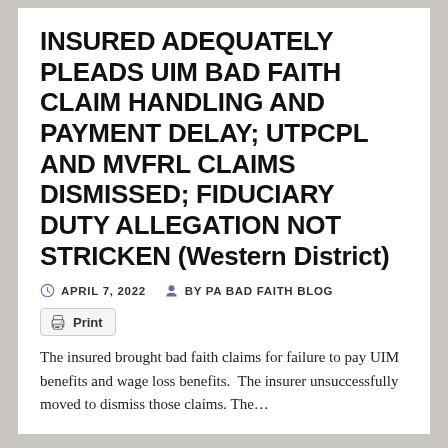INSURED ADEQUATELY PLEADS UIM BAD FAITH CLAIM HANDLING AND PAYMENT DELAY; UTPCPL AND MVFRL CLAIMS DISMISSED; FIDUCIARY DUTY ALLEGATION NOT STRICKEN (Western District)
APRIL 7, 2022   BY PA BAD FAITH BLOG
Print
The insured brought bad faith claims for failure to pay UIM benefits and wage loss benefits.  The insurer unsuccessfully moved to dismiss those claims. The…
PA - CLAIMS HANDLING (REASONABLE)
INSURER'S COVERAGE DENIAL OBJECTIVELY REASONABLE